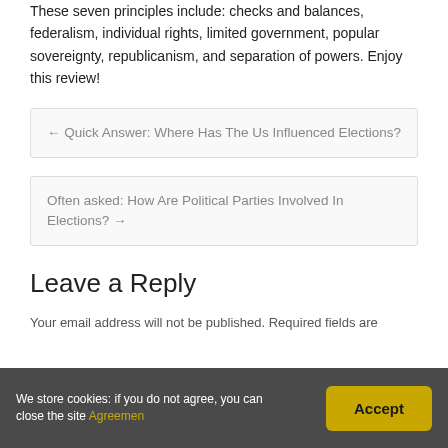These seven principles include: checks and balances, federalism, individual rights, limited government, popular sovereignty, republicanism, and separation of powers. Enjoy this review!
← Quick Answer: Where Has The Us Influenced Elections?
Often asked: How Are Political Parties Involved In Elections? →
Leave a Reply
Your email address will not be published. Required fields are
We store cookies: if you do not agree, you can close the site Agreemen
Accept